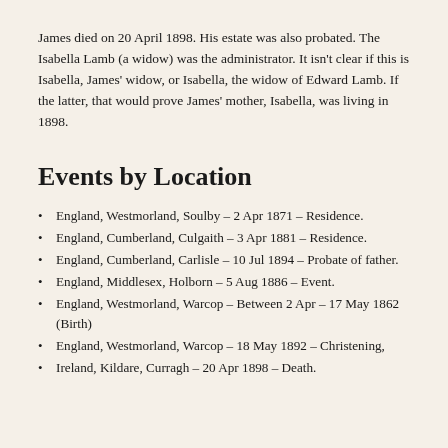James died on 20 April 1898. His estate was also probated. The Isabella Lamb (a widow) was the administrator. It isn't clear if this is Isabella, James' widow, or Isabella, the widow of Edward Lamb. If the latter, that would prove James' mother, Isabella, was living in 1898.
Events by Location
England, Westmorland, Soulby – 2 Apr 1871 – Residence.
England, Cumberland, Culgaith – 3 Apr 1881 – Residence.
England, Cumberland, Carlisle – 10 Jul 1894 – Probate of father.
England, Middlesex, Holborn – 5 Aug 1886 – Event.
England, Westmorland, Warcop – Between 2 Apr – 17 May 1862 (Birth)
England, Westmorland, Warcop – 18 May 1892 – Christening,
Ireland, Kildare, Curragh – 20 Apr 1898 – Death.